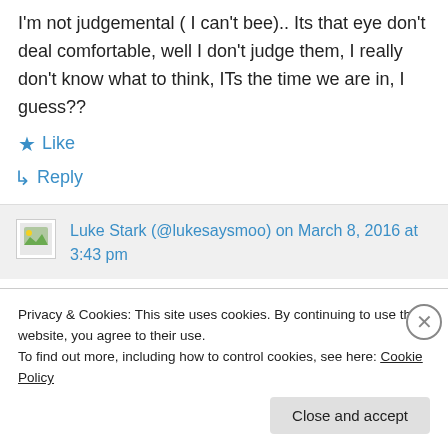I'm not judgemental ( I can't bee).. Its that eye don't deal comfortable, well I don't judge them, I really don't know what to think, ITs the time we are in, I guess??
★ Like
↪ Reply
Luke Stark (@lukesaysmoo) on March 8, 2016 at 3:43 pm
Privacy & Cookies: This site uses cookies. By continuing to use this website, you agree to their use.
To find out more, including how to control cookies, see here: Cookie Policy
Close and accept